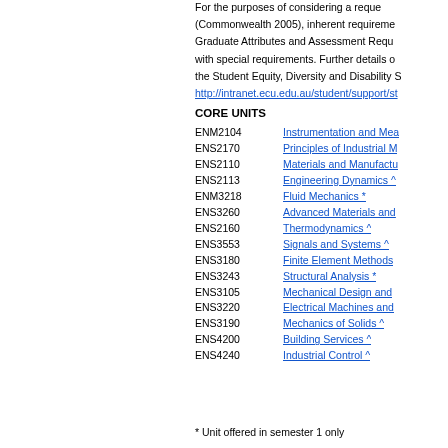For the purposes of considering a request (Commonwealth 2005), inherent requirements, Graduate Attributes and Assessment Requirements with special requirements. Further details on the Student Equity, Diversity and Disability S http://intranet.ecu.edu.au/student/support/st
CORE UNITS
ENM2104   Instrumentation and Mea
ENS2170   Principles of Industrial M
ENS2110   Materials and Manufactu
ENS2113   Engineering Dynamics ^
ENM3218   Fluid Mechanics *
ENS3260   Advanced Materials and
ENS2160   Thermodynamics ^
ENS3553   Signals and Systems ^
ENS3180   Finite Element Methods
ENS3243   Structural Analysis *
ENS3105   Mechanical Design and
ENS3220   Electrical Machines and
ENS3190   Mechanics of Solids ^
ENS4200   Building Services ^
ENS4240   Industrial Control ^
* Unit offered in semester 1 only